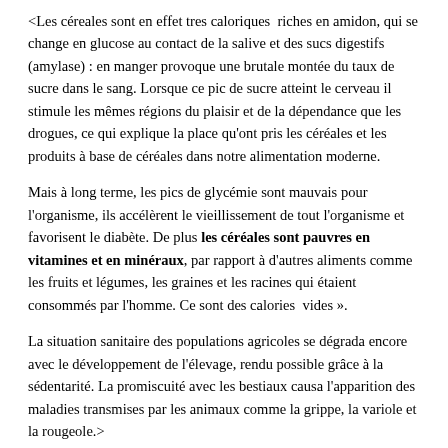<Les céreales sont en effet tres caloriques  riches en amidon, qui se change en glucose au contact de la salive et des sucs digestifs (amylase) : en manger provoque une brutale montée du taux de sucre dans le sang. Lorsque ce pic de sucre atteint le cerveau il stimule les mêmes régions du plaisir et de la dépendance que les drogues, ce qui explique la place qu'ont pris les céréales et les produits à base de céréales dans notre alimentation moderne.
Mais à long terme, les pics de glycémie sont mauvais pour l'organisme, ils accélèrent le vieillissement de tout l'organisme et favorisent le diabète. De plus les céréales sont pauvres en vitamines et en minéraux, par rapport à d'autres aliments comme les fruits et légumes, les graines et les racines qui étaient consommés par l'homme. Ce sont des calories  vides ».
La situation sanitaire des populations agricoles se dégrada encore avec le développement de l'élevage, rendu possible grâce à la sédentarité. La promiscuité avec les bestiaux causa l'apparition des maladies transmises par les animaux comme la grippe, la variole et la rougeole.>
<Le blé mal digéré par l'homme
Pour pouvoir digérer un aliment, il est nécessaire d'avoir dans son système digestif des enzymes correspondant à cet aliment. C'est la raison pour laquelle les vaches et les chevaux peuvent brouter